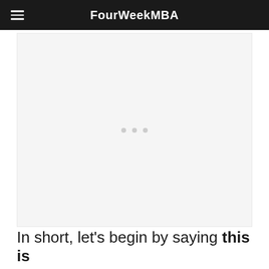FourWeekMBA
[Figure (other): Advertisement or content placeholder area with three dots loading indicator in the center]
In short, let’s begin by saying this is